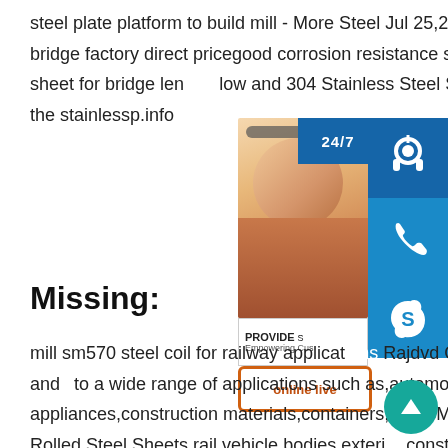steel plate platform to build mill - More Steel Jul 25,2020 sp.info SM570 steel plate for bridge factory direct pricegood corrosion resistance sm570 bridge length. SM570 steel sheet for bridge length. low and 304 Stainless Steel Sheet,is the and economical of the stainlessp.info
[Figure (infographic): Customer service widget with photo of woman with headset, 24/7 label, contact icon boxes (headset, phone, Skype), PROVIDE Empowering Customers text, and orange online live button]
Missing:
mill sm570 steel coil for railway applications Rajdvd Our Hot-Rolled Steel Sheets and to a wide range of applications such as,automobiles,electrical appliances,construction materials,containers,and SM570 570 720 JIS G 3114 Hot-Rolled Steel Sheets rail vehicle bodies,exterior construction members Weldable High-Strength Steel. hot rolled s235jr platform to build data sheet - Lafek Lafek Ceska republika